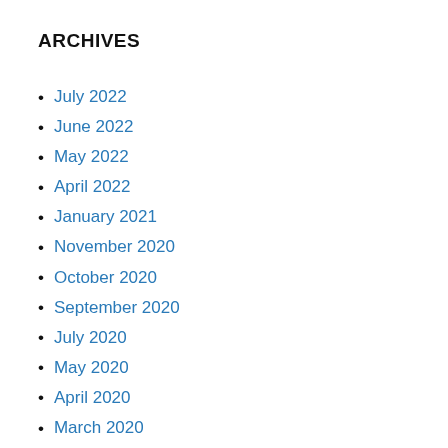ARCHIVES
July 2022
June 2022
May 2022
April 2022
January 2021
November 2020
October 2020
September 2020
July 2020
May 2020
April 2020
March 2020
February 2020